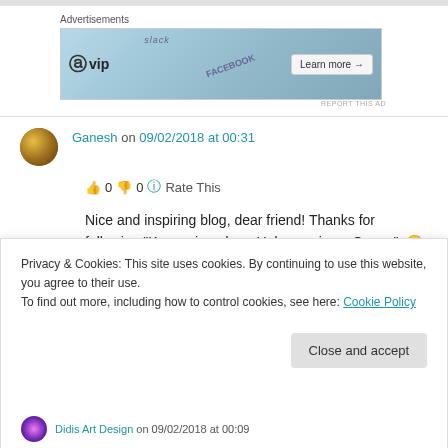Advertisements
[Figure (screenshot): WordPress VIP advertisement banner with 'Learn more →' button]
REPORT THIS AD
Ganesh on 09/02/2018 at 00:31
👍 0 👎 0 ℹ Rate This
Nice and inspiring blog, dear friend! Thanks for following "Known is a drop, Unknown is an Ocean". 🙂
Privacy & Cookies: This site uses cookies. By continuing to use this website, you agree to their use.
To find out more, including how to control cookies, see here: Cookie Policy
Close and accept
Didis Art Design on 09/02/2018 at 00:09